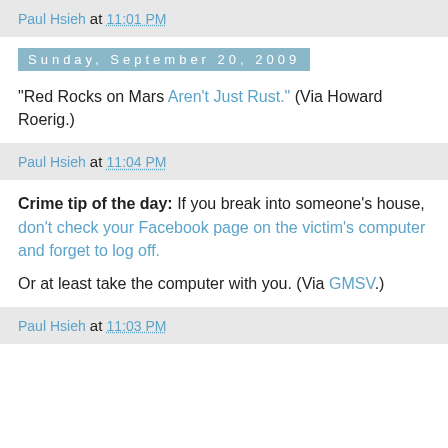Paul Hsieh at 11:01 PM
Sunday, September 20, 2009
"Red Rocks on Mars Aren't Just Rust." (Via Howard Roerig.)
Paul Hsieh at 11:04 PM
Crime tip of the day: If you break into someone's house, don't check your Facebook page on the victim's computer and forget to log off.

Or at least take the computer with you. (Via GMSV.)
Paul Hsieh at 11:03 PM